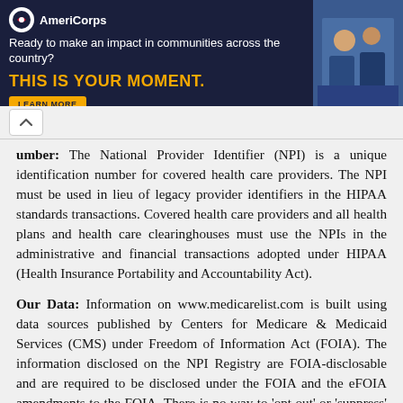[Figure (other): AmeriCorps advertisement banner: dark navy background with AmeriCorps logo, tagline 'Ready to make an impact in communities across the country?', bold orange text 'THIS IS YOUR MOMENT.' with a 'LEARN MORE' button, and a photo of people on the right side.]
Number: The National Provider Identifier (NPI) is a unique identification number for covered health care providers. The NPI must be used in lieu of legacy provider identifiers in the HIPAA standards transactions. Covered health care providers and all health plans and health care clearinghouses must use the NPIs in the administrative and financial transactions adopted under HIPAA (Health Insurance Portability and Accountability Act).
Our Data: Information on www.medicarelist.com is built using data sources published by Centers for Medicare & Medicaid Services (CMS) under Freedom of Information Act (FOIA). The information disclosed on the NPI Registry are FOIA-disclosable and are required to be disclosed under the FOIA and the eFOIA amendments to the FOIA. There is no way to 'opt out' or 'suppress' the NPPES record data for health care providers with active NPIs.